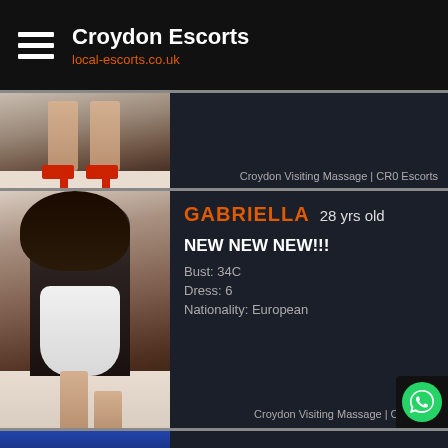Croydon Escorts | local-escorts.co.uk
[Figure (photo): Partial view of woman's legs in red heels on a dark floor — upper portion of listing card cut off]
Croydon Visiting Massage | CR0 Escorts
[Figure (photo): Woman in white dress posing — Gabriella listing photo]
GABRIELLA  28 yrs old
NEW NEW NEW!!!
Bust: 34C
Dress: 6
Nationality: European
Croydon Visiting Massage | CR0 Esc
[Figure (photo): Partial photo of Monica listing — blue tinted image, partially visible]
MONICA  26 yrs old